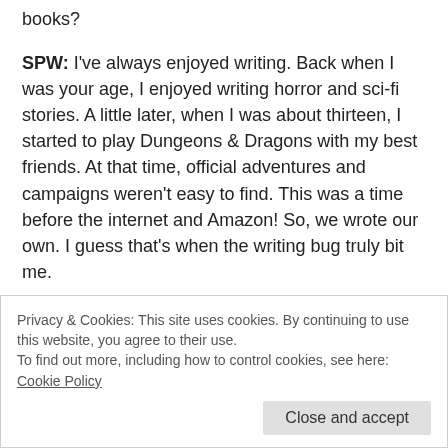books?
SPW: I've always enjoyed writing. Back when I was your age, I enjoyed writing horror and sci-fi stories. A little later, when I was about thirteen, I started to play Dungeons & Dragons with my best friends. At that time, official adventures and campaigns weren't easy to find. This was a time before the internet and Amazon! So, we wrote our own. I guess that's when the writing bug truly bit me.
When I was in my twenties, I'd moved on from D&D, and was writing my own epic campaigns for games like Call of Cthulhu, SLA Industries, and Kult.
Privacy & Cookies: This site uses cookies. By continuing to use this website, you agree to their use.
To find out more, including how to control cookies, see here: Cookie Policy
Close and accept